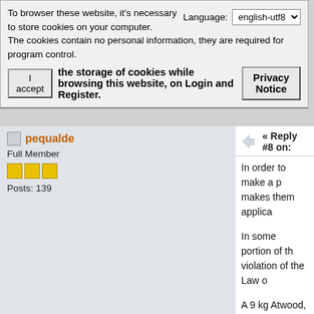To browser these website, it's necessary to store cookies on your computer.
The cookies contain no personal information, they are required for program control.
Language: english-utf8
I accept the storage of cookies while browsing this website, on Login and Register.
Privacy Notice
pequalde
Full Member
Posts: 139
« Reply #8 on:
In order to make a p makes them applica
In some portion of th violation of the Law o
A 9 kg Atwood, with same distance on th
The Law of Conserv interact in straight lin working at angles.
If the cylinder and sp
When the spheres a around the circumf